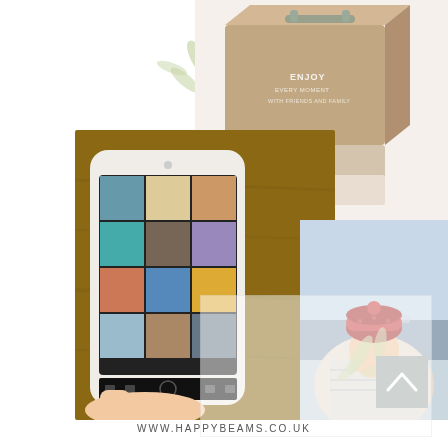[Figure (photo): Decorative wooden box with handle and text 'ENJOY EVERY MOMENT WITH FRIENDS AND FAMILY', top right area of the page]
[Figure (illustration): Decorative green leaf/splash design elements, top left area]
[Figure (photo): Hand holding a smartphone showing an Instagram-like photo grid with multiple lifestyle photos, centered-left on page]
[Figure (photo): Photo of a woman wearing a red knit hat and striped sweater, overlapping the phone photo on the right side]
[Figure (illustration): Decorative green leaf/splash design elements, bottom right area]
[Figure (illustration): Gray square button with white upward chevron/arrow, bottom right corner]
WWW.HAPPYBEAMS.CO.UK